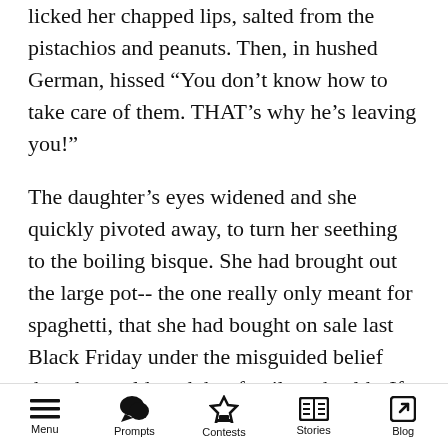licked her chapped lips, salted from the pistachios and peanuts. Then, in hushed German, hissed “You don’t know how to take care of them. THAT’s why he’s leaving you!”
The daughter’s eyes widened and she quickly pivoted away, to turn her seething to the boiling bisque. She had brought out the large pot-- the one really only meant for spaghetti, that she had bought on sale last Black Friday under the misguided belief that she could cook her family to health. If only.... She plodded the wooden spoon into the thick pumpkin goop, listening to her mother snap shells.
“Greta- when’s the last time I’ve seen that girl
Menu  Prompts  Contests  Stories  Blog